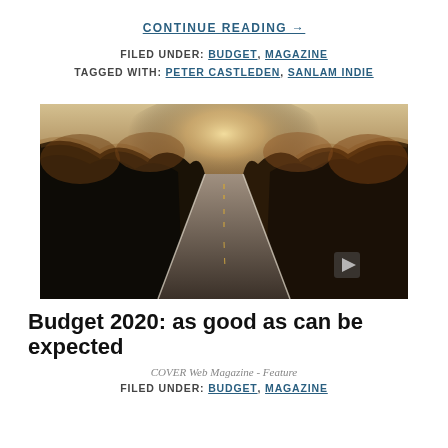CONTINUE READING →
FILED UNDER: BUDGET, MAGAZINE
TAGGED WITH: PETER CASTLEDEN, SANLAM INDIE
[Figure (photo): Aerial view of a long straight road flanked by dense autumn-colored trees, stretching to a bright horizon. Dark foreground, warm golden light in the distance.]
Budget 2020: as good as can be expected
COVER Web Magazine - Feature
FILED UNDER: BUDGET, MAGAZINE